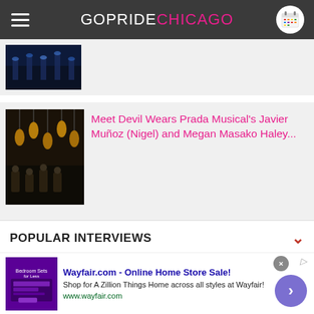GOPRIDE CHICAGO
[Figure (photo): Partial thumbnail of article image showing dark stage with blue lighting]
[Figure (photo): Thumbnail showing musicians/performers on stage with warm lantern lighting]
Meet Devil Wears Prada Musical's Javier Muñoz (Nigel) and Megan Masako Haley...
POPULAR INTERVIEWS
MORE INTERVIEWS (1-318)
We use cookies.
Yes, we use cookies to ensure we give you the best experience using this website.
By closing this box or clicking on the continue button, you agree to our terms of use and consent to the use of
[Figure (photo): Wayfair advertisement with purple bedroom furniture thumbnail]
Wayfair.com - Online Home Store Sale!
Shop for A Zillion Things Home across all styles at Wayfair!
www.wayfair.com